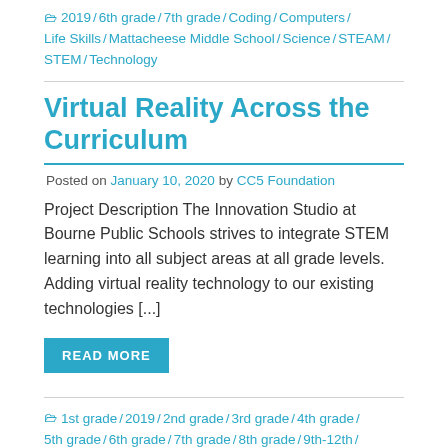🗂 2019 / 6th grade / 7th grade / Coding / Computers / Life Skills / Mattacheese Middle School / Science / STEAM / STEM / Technology
Virtual Reality Across the Curriculum
Posted on January 10, 2020 by CC5 Foundation
Project Description The Innovation Studio at Bourne Public Schools strives to integrate STEM learning into all subject areas at all grade levels. Adding virtual reality technology to our existing technologies [...]
READ MORE
🗂 1st grade / 2019 / 2nd grade / 3rd grade / 4th grade / 5th grade / 6th grade / 7th grade / 8th grade / 9th-12th / Bourne Elementary / Bourne High School / Bourne Intermediate School / Bourne Middle / English Language Arts / Foreign